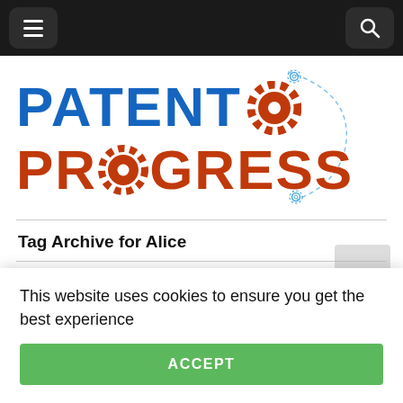Patent Progress - navigation bar with menu and search icons
[Figure (logo): Patent Progress logo with blue 'PATENT' text and orange 'PROGRESS' text, with gear icons and dashed circular path decoration]
Tag Archive for Alice
Sunshine: Eclipse Promises Not To Sue Californians
Remember Shipping and Transit?  The notorious NPE went bankrupt last year after its... everyone from transit app developers to city transit authorities hit a few potholes...
This website uses cookies to ensure you get the best experience
ACCEPT